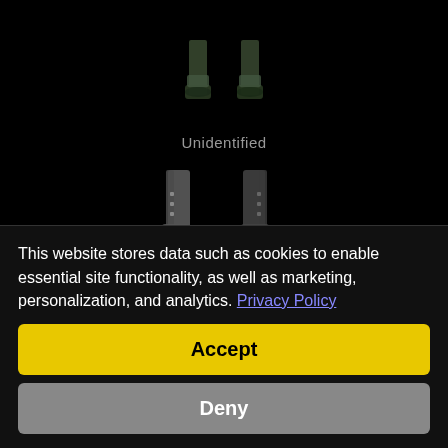[Figure (screenshot): Two pairs of boots item images from a video game (Diablo 2 Resurrected). Top pair appears smaller/unidentified, bottom pair appears larger and identified. Dark background.]
Unidentified
Images
D2: Ressurected
[Figure (screenshot): Small blurry game item icon]
This website stores data such as cookies to enable essential site functionality, as well as marketing, personalization, and analytics. Privacy Policy
Accept
Deny